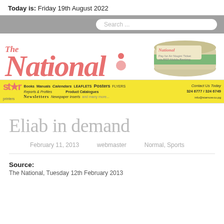Today is: Friday 19th August 2022
[Figure (screenshot): Search bar on grey background]
[Figure (logo): The National newspaper logo with masthead in red/pink and a rolled newspaper image on the right]
[Figure (infographic): Star Printers advertisement banner in yellow with books, calendars, newsletters, posters, product catalogues and contact number 324 6777 / 324 6749]
Eliab in demand
February 11, 2013   webmaster   Normal, Sports
Source:
The National, Tuesday 12th February 2013